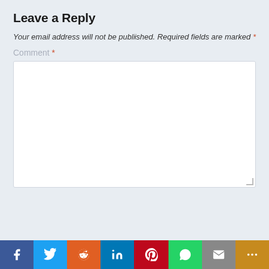Leave a Reply
Your email address will not be published. Required fields are marked *
Comment *
[Figure (screenshot): Empty comment text area input box with white background and light border, resize handle in bottom-right corner]
[Figure (infographic): Social media sharing bar with icons for Facebook, Twitter, Reddit, LinkedIn, Pinterest, WhatsApp, Email, and More]